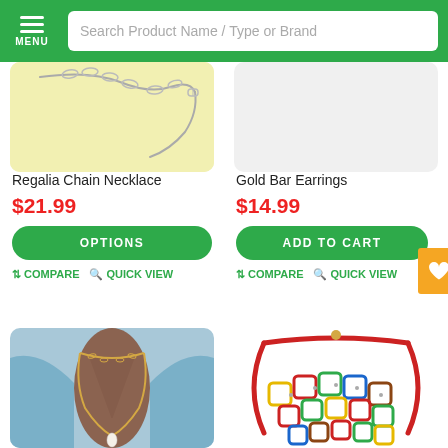Search Product Name / Type or Brand
[Figure (photo): Regalia Chain Necklace product image on yellow background]
Regalia Chain Necklace
$21.99
OPTIONS
COMPARE   QUICK VIEW
[Figure (photo): Gold Bar Earrings product image on white/grey background]
Gold Bar Earrings
$14.99
ADD TO CART
COMPARE   QUICK VIEW
[Figure (photo): Person wearing a gold chain necklace with pearl pendant over blue jacket]
[Figure (photo): Colorful multi-colored geometric tile bracelet with red cord]